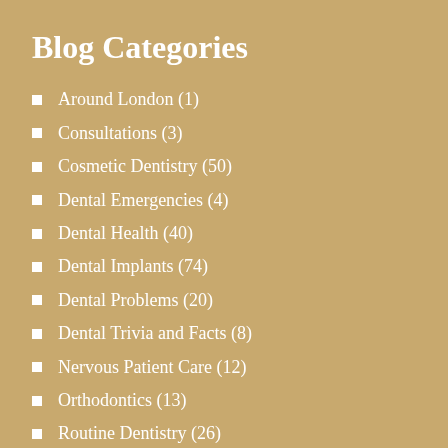Blog Categories
Around London (1)
Consultations (3)
Cosmetic Dentistry (50)
Dental Emergencies (4)
Dental Health (40)
Dental Implants (74)
Dental Problems (20)
Dental Trivia and Facts (8)
Nervous Patient Care (12)
Orthodontics (13)
Routine Dentistry (26)
Uncategorized (1)